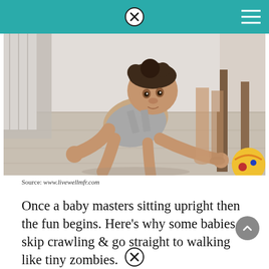[Figure (photo): A baby in a gray sleeveless onesie crawling on a light wood floor, reaching toward a colorful ball, with furniture visible in the background.]
Source: www.livewellmfr.com
Once a baby masters sitting upright then the fun begins. Here's why some babies skip crawling & go straight to walking like tiny zombies.